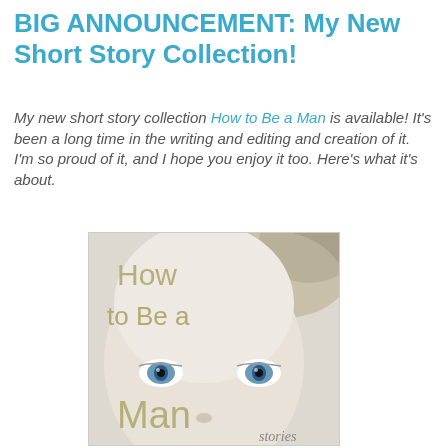BIG ANNOUNCEMENT: My New Short Story Collection!
My new short story collection How to Be a Man is available! It's been a long time in the writing and editing and creation of it.  I'm so proud of it, and I hope you enjoy it too. Here's what it's about.
[Figure (illustration): Book cover of 'How to Be a Man stories' showing a close-up of a young person's face with blue eyes and blonde hair. Olive/tan colored text reading 'How to Be a Man' overlaid on the image, with 'stories' in italic at the bottom right.]